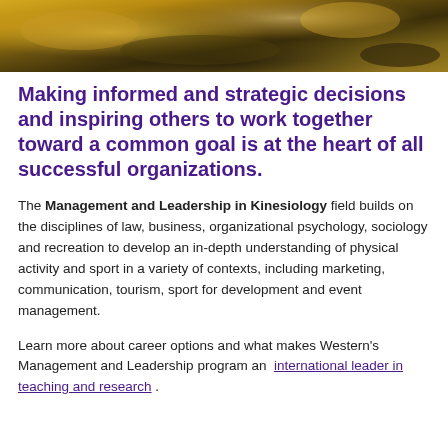[Figure (photo): Decorative banner photo with warm golden/brown tones, appears to show an outdoor or architectural scene]
Making informed and strategic decisions and inspiring others to work together toward a common goal is at the heart of all successful organizations.
The Management and Leadership in Kinesiology field builds on the disciplines of law, business, organizational psychology, sociology and recreation to develop an in-depth understanding of physical activity and sport in a variety of contexts, including marketing, communication, tourism, sport for development and event management.
Learn more about career options and what makes Western's Management and Leadership program an international leader in teaching and research .